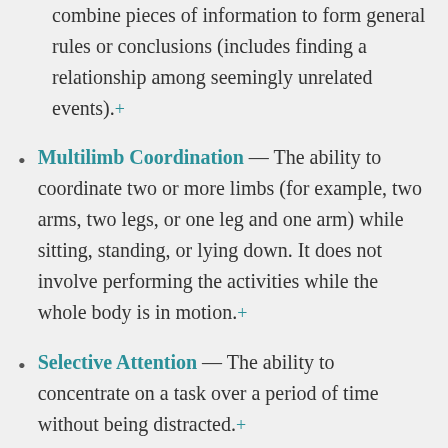combine pieces of information to form general rules or conclusions (includes finding a relationship among seemingly unrelated events).⊕
Multilimb Coordination — The ability to coordinate two or more limbs (for example, two arms, two legs, or one leg and one arm) while sitting, standing, or lying down. It does not involve performing the activities while the whole body is in motion.⊕
Selective Attention — The ability to concentrate on a task over a period of time without being distracted.⊕